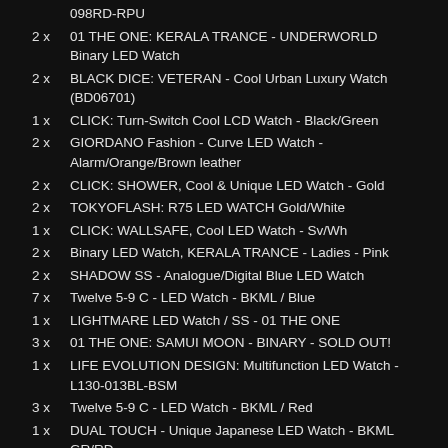098RD-RPU
2 x   01 THE ONE: KERALA TRANCE - UNDERWORLD Binary LED Watch
2 x   BLACK DICE: VETERAN - Cool Urban Luxury Watch (BD06701)
1 x   CLICK: Turn-Switch Cool LCD Watch - Black/Green
2 x   GIORDANO Fashion - Curve LED Watch - Alarm/Orange/Brown leather
2 x   CLICK: SHOWER, Cool & Unique LED Watch - Gold
2 x   TOKYOFLASH: R75 LED WATCH Gold/White
1 x   CLICK: WALLSAFE, Cool LED Watch - Sv/Wh
2 x   Binary LED Watch, KERALA TRANCE - Ladies - Pink
2 x   SHADOW SS - Analogue/Digital Blue LED Watch
7 x   Twelve 5-9 C - LED Watch - BKML / Blue
1 x   LIGHTMARE LED Watch / SS - 01 THE ONE
3 x   01 THE ONE: SAMUI MOON - BINARY - SOLD OUT!
1 x   LIFE EVOLUTION DESIGN: Multifunction LED Watch - L130-013BL-BSM
3 x   Twelve 5-9 C - LED Watch - BKML / Red
1 x   DUAL TOUCH - Unique Japanese LED Watch - BKML GR/RD